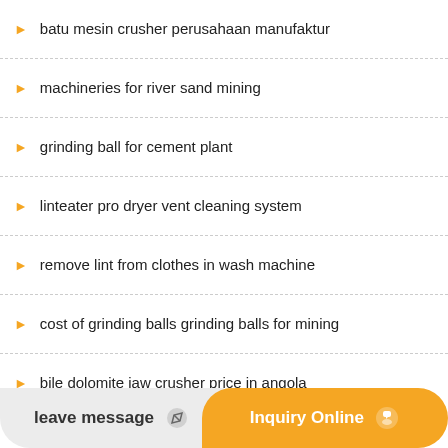batu mesin crusher perusahaan manufaktur
machineries for river sand mining
grinding ball for cement plant
linteater pro dryer vent cleaning system
remove lint from clothes in wash machine
cost of grinding balls grinding balls for mining
bile dolomite jaw crusher price in angola
crusher in maharastra
spiral gold concentrator
milling machine used for sale